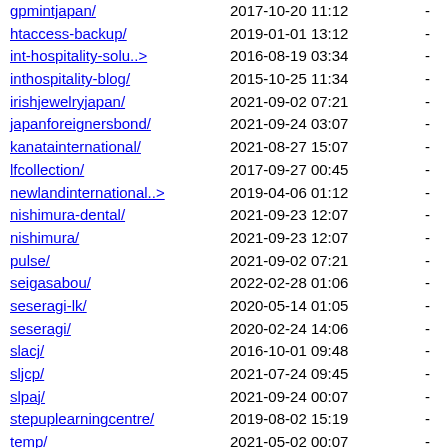gpmintjapan/  2017-10-20 11:12  -
htaccess-backup/  2019-01-01 13:12  -
int-hospitality-solu..>  2016-08-19 03:34  -
inthospitality-blog/  2015-10-25 11:34  -
irishjewelryjapan/  2021-09-02 07:21  -
japanforeignersbond/  2021-09-24 03:07  -
kanatainternational/  2021-08-27 15:07  -
lfcollection/  2017-09-27 00:45  -
newlandinternational..>  2019-04-06 01:12  -
nishimura-dental/  2021-09-23 12:07  -
nishimura/  2021-09-23 12:07  -
pulse/  2021-09-02 07:21  -
seigasabou/  2022-02-28 01:06  -
seseragi-lk/  2020-05-14 01:05  -
seseragi/  2020-02-24 14:06  -
slacj/  2016-10-01 09:48  -
sljcp/  2021-07-24 09:45  -
slpaj/  2021-09-24 00:07  -
stepuplearningcentre/  2019-08-02 15:19  -
temp/  2021-05-02 00:07  -
thirasmaa/  2016-10-22 17:14  -